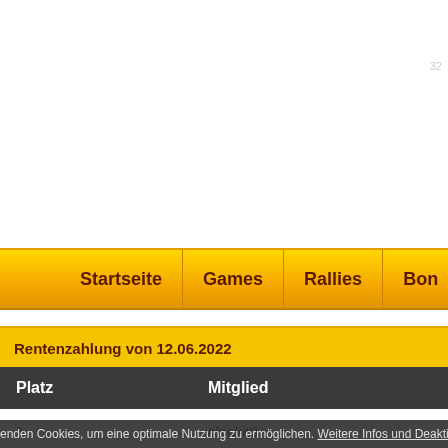32
Startseite | Games | Rallies | Bon
Rentenzahlung von 12.06.2022
| Platz | Mitglied |
| --- | --- |
| 1 | clockit0 |
| 2 | wickeerl |
enden Cookies, um eine optimale Nutzung zu ermöglichen. Weitere Infos und Deaktivierung